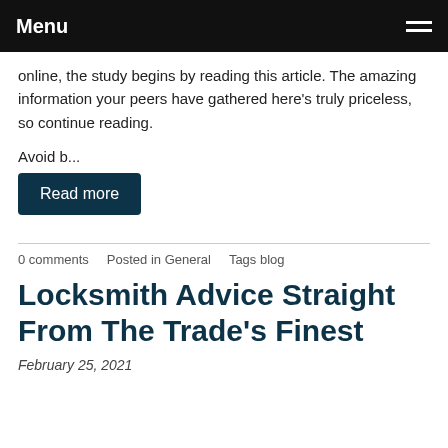Menu
online, the study begins by reading this article. The amazing information your peers have gathered here's truly priceless, so continue reading.
Avoid b...
Read more
0 comments   Posted in General   Tags blog
Locksmith Advice Straight From The Trade's Finest
February 25, 2021